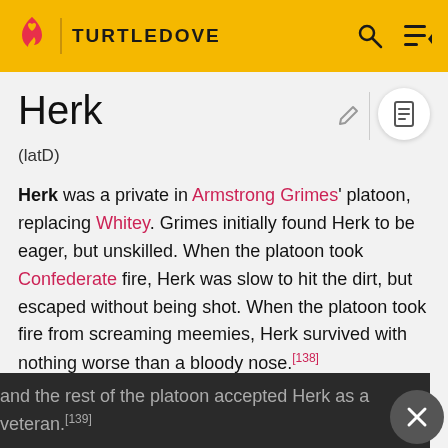TURTLEDOVE
Herk
(latD)
Herk was a private in Armstrong Grimes' platoon, replacing Whitey. Grimes initially found Herk to be eager, but unskilled. When the platoon took Confederate fire, Herk was slow to hit the dirt, but escaped without being shot. When the platoon took fire from screaming meemies, Herk survived with nothing worse than a bloody nose.[138]
After a few weeks of hard fighting and surviving, Grimes and the rest of the platoon accepted Herk as a veteran.[139]